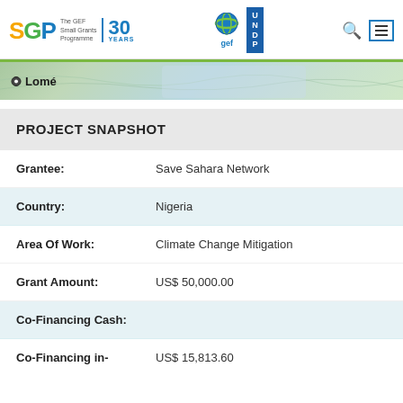SGP The GEF Small Grants Programme 30 YEARS | GEF | UNDP
[Figure (map): Map strip showing location marker near Lomé]
PROJECT SNAPSHOT
Grantee: Save Sahara Network
Country: Nigeria
Area Of Work: Climate Change Mitigation
Grant Amount: US$ 50,000.00
Co-Financing Cash:
Co-Financing in- US$ 15,813.60